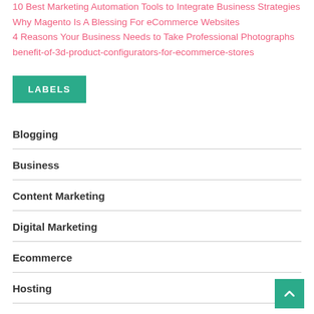10 Best Marketing Automation Tools to Integrate Business Strategies
Why Magento Is A Blessing For eCommerce Websites
4 Reasons Your Business Needs to Take Professional Photographs
benefit-of-3d-product-configurators-for-ecommerce-stores
LABELS
Blogging
Business
Content Marketing
Digital Marketing
Ecommerce
Hosting